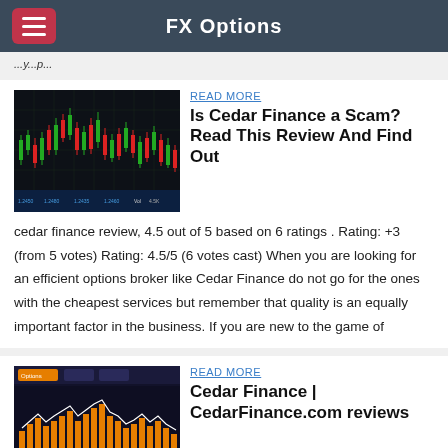FX Options
...y...p...
READ MORE
Is Cedar Finance a Scam? Read This Review And Find Out
[Figure (screenshot): Screenshot of a financial trading chart with candlestick data on dark background]
cedar finance review, 4.5 out of 5 based on 6 ratings . Rating: +3 (from 5 votes) Rating: 4.5/5 (6 votes cast) When you are looking for an efficient options broker like Cedar Finance do not go for the ones with the cheapest services but remember that quality is an equally important factor in the business. If you are new to the game of
READ MORE
Cedar Finance | CedarFinance.com reviews
[Figure (screenshot): Screenshot of Cedar Finance trading platform with dark theme and orange bar chart]